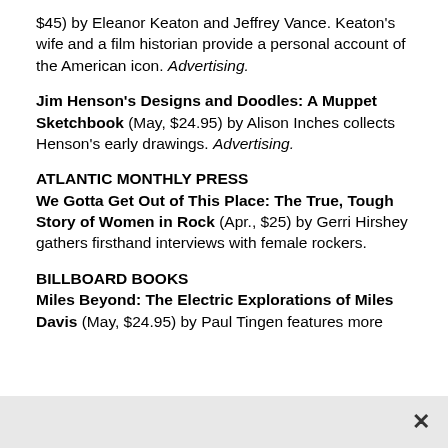$45) by Eleanor Keaton and Jeffrey Vance. Keaton's wife and a film historian provide a personal account of the American icon. Advertising.
Jim Henson's Designs and Doodles: A Muppet Sketchbook (May, $24.95) by Alison Inches collects Henson's early drawings. Advertising.
ATLANTIC MONTHLY PRESS We Gotta Get Out of This Place: The True, Tough Story of Women in Rock (Apr., $25) by Gerri Hirshey gathers firsthand interviews with female rockers.
BILLBOARD BOOKS Miles Beyond: The Electric Explorations of Miles Davis (May, $24.95) by Paul Tingen features more